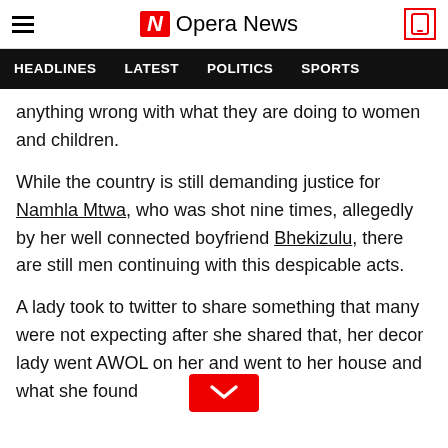Opera News
HEADLINES   LATEST   POLITICS   SPORTS
anything wrong with what they are doing to women and children.
While the country is still demanding justice for Namhla Mtwa, who was shot nine times, allegedly by her well connected boyfriend Bhekizulu, there are still men continuing with this despicable acts.
A lady took to twitter to share something that many were not expecting after she shared that, her decor lady went AWOL on her and went to her house and what she found